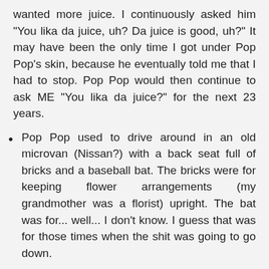wanted more juice. I continuously asked him "You lika da juice, uh? Da juice is good, uh?" It may have been the only time I got under Pop Pop's skin, because he eventually told me that I had to stop. Pop Pop would then continue to ask ME "You lika da juice?" for the next 23 years.
Pop Pop used to drive around in an old microvan (Nissan?) with a back seat full of bricks and a baseball bat. The bricks were for keeping flower arrangements (my grandmother was a florist) upright. The bat was for... well... I don't know. I guess that was for those times when the shit was going to go down.
My grandfather liked watching a good fight. My dad would throw me and my brother in his old Toyota pickup to drive to Pop Pop's house to watch Ultimate Fighting Championship videos. This was way-back in the days where these were really "no holds barred". I remember Pop Pop just crying out "eww... eww!" as Joe Son (master of